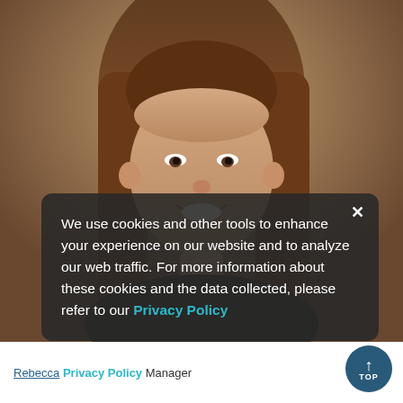[Figure (photo): Headshot photo of a young woman with long brown hair, smiling, against a muted brown/grey background. A cookie consent overlay partially covers the lower portion of the photo.]
We use cookies and other tools to enhance your experience on our website and to analyze our web traffic. For more information about these cookies and the data collected, please refer to our Privacy Policy
Rebecca [last name obscured], Program Manager